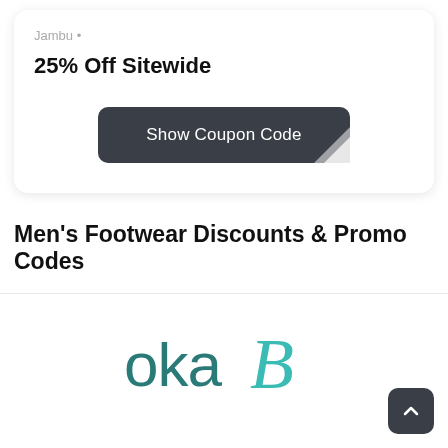Jambu •
25% Off Sitewide
[Figure (other): Dark rounded button labeled 'Show Coupon Code' with a peeled corner effect at the bottom right]
Men's Footwear Discounts & Promo Codes
[Figure (logo): Oka-B brand logo in teal/dark teal colors]
[Figure (other): Back to top button - dark rounded square with upward chevron arrow icon]